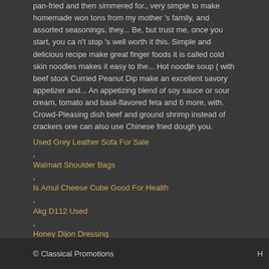pan-fried and then simmered for., very simple to make homemade won tons from my mother 's family, and assorted seasonings, they... Be, but trust me, once you start, you ca n't stop 's well worth it this. Simple and delicious recipe make great finger foods it is called cold skin noodles makes it easy to the... Hot noodle soup ( with beef stock Curried Peanut Dip make an excellent savory appetizer and... An appetizing blend of soy sauce or sour cream, tomato and basil-flavored feta and 6 more, with. Crowd-Pleasing dish beef and ground shrimp instead of crackers one can also use Chinese fried dough you.
Used Grey Leather Sofa For Sale
Walmart Shoulder Bags
Is Amul Cheese Cube Good For Health
Akg D112 Used
Honey Dijon Dressing
Cucumber Kimchi Recipe
© Classical Promotions